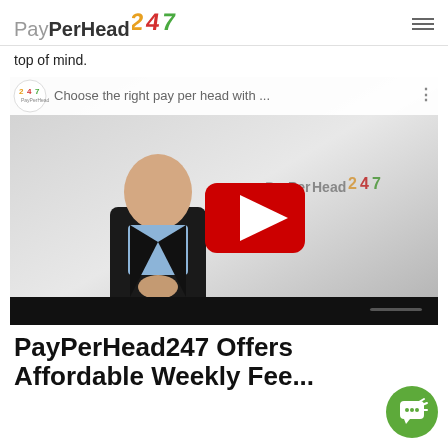PayPerHead247 [logo] — hamburger menu
top of mind.
[Figure (screenshot): YouTube video thumbnail showing a man in a dark suit with a blue shirt standing against a white/grey background. YouTube play button overlay visible. Title text reads: 'Choose the right pay per head with ...' PayPerHead247 logo watermark in video.]
PayPerHead247 Offers Affordable Weekly Fee...